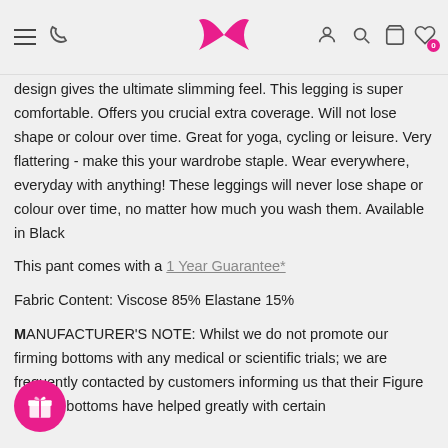Navigation header with hamburger menu, phone icon, logo, account, search, cart, and wishlist icons
design gives the ultimate slimming feel. This legging is super comfortable. Offers you crucial extra coverage. Will not lose shape or colour over time. Great for yoga, cycling or leisure. Very flattering - make this your wardrobe staple. Wear everywhere, everyday with anything! These leggings will never lose shape or colour over time, no matter how much you wash them. Available in Black
This pant comes with a 1 Year Guarantee*
Fabric Content: Viscose 85% Elastane 15%
MANUFACTURER'S NOTE: Whilst we do not promote our firming bottoms with any medical or scientific trials; we are frequently contacted by customers informing us that their Figure Firming bottoms have helped greatly with certain